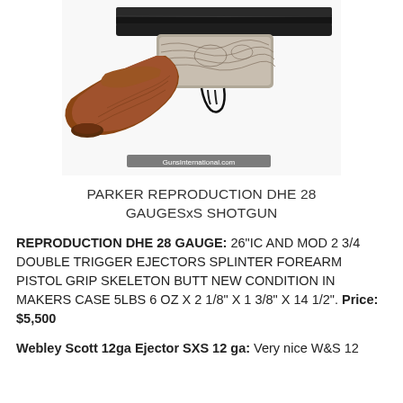[Figure (photo): Close-up photograph of a Parker Reproduction DHE 28 gauge side-by-side shotgun showing the action, stock, and engraved receiver. Watermark reads 'GunsInternational.com']
PARKER REPRODUCTION DHE 28 GAUGESxS SHOTGUN
REPRODUCTION DHE 28 GAUGE: 26"IC AND MOD 2 3/4 DOUBLE TRIGGER EJECTORS SPLINTER FOREARM PISTOL GRIP SKELETON BUTT NEW CONDITION IN MAKERS CASE 5LBS 6 OZ X 2 1/8" X 1 3/8" X 14 1/2". Price: $5,500
Webley Scott 12ga Ejector SXS 12 ga: Very nice W&S 12